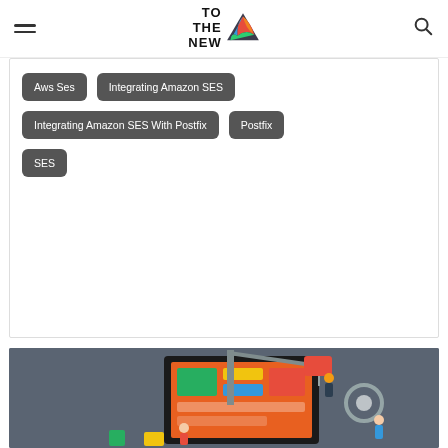TO THE NEW (logo with hamburger menu and search icon)
Aws Ses
Integrating Amazon SES
Integrating Amazon SES With Postfix
Postfix
SES
[Figure (illustration): Flat design illustration of a construction crane and workers building a large digital screen/monitor with colorful UI elements, set against a dark teal background.]